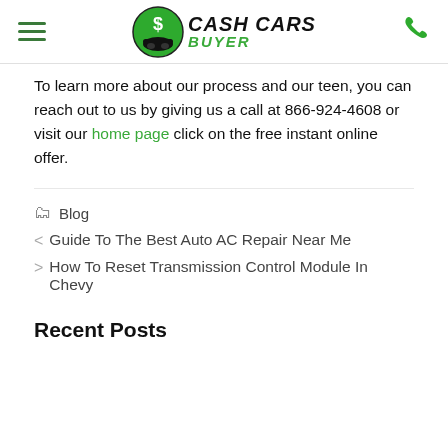Cash Cars Buyer — navigation header with hamburger menu and phone icon
To learn more about our process and our teen, you can reach out to us by giving us a call at 866-924-4608 or visit our home page click on the free instant online offer.
Blog
< Guide To The Best Auto AC Repair Near Me
> How To Reset Transmission Control Module In Chevy
Recent Posts